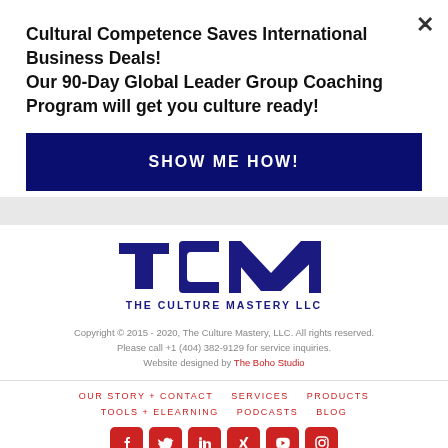Cultural Competence Saves International Business Deals! Our 90-Day Global Leader Group Coaching Program will get you culture ready!
SHOW ME HOW!
[Figure (logo): TCM The Culture Mastery LLC logo in dark navy blue]
Copyright © 2015 - 2020, The Culture Mastery, LLC. All rights reserved. Please call +1 (404) 382-9129 for service inquiries. Website designed by The Boho Studio
OUR STORY + CONTACT   SERVICES   PRODUCTS   TOOLS + ELEARNING   PODCASTS   BLOG
[Figure (infographic): Social media icons row: Facebook, Twitter, LinkedIn, Xing, YouTube, Instagram — all red rounded squares]